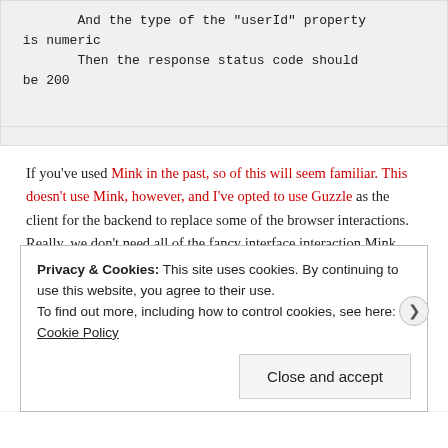[Figure (screenshot): Code block showing BDD-style test steps: 'And the type of the "userId" property is numeric' and 'Then the response status code should be 200']
If you've used Mink in the past, so of this will seem familiar. This doesn't use Mink, however, and I've opted to use Guzzle as the client for the backend to replace some of the browser interactions. Really, we don't need all of the fancy interface interaction Mink gives, so this streamlined interface is more useful.
In this example, we're creating a user with a property “name” of “Chris” and sending that off to the “/user/index.json” endpoint. A few
Privacy & Cookies: This site uses cookies. By continuing to use this website, you agree to their use.
To find out more, including how to control cookies, see here: Cookie Policy
Close and accept